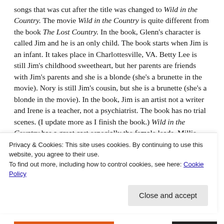songs that was cut after the title was changed to Wild in the Country. The movie Wild in the Country is quite different from the book The Lost Country. In the book, Glenn's character is called Jim and he is an only child. The book starts when Jim is an infant. It takes place in Charlottesville, VA. Betty Lee is still Jim's childhood sweetheart, but her parents are friends with Jim's parents and she is a blonde (she's a brunette in the movie). Nory is still Jim's cousin, but she is a brunette (she's a blonde in the movie). In the book, Jim is an artist not a writer and Irene is a teacher, not a psychiatrist. The book has no trial scenes. (I update more as I finish the book.) Wild in the Country has a great cast especially the female leads. Millie Perkins
Privacy & Cookies: This site uses cookies. By continuing to use this website, you agree to their use.
To find out more, including how to control cookies, see here: Cookie Policy